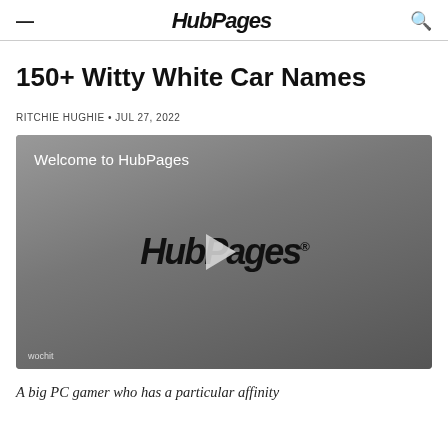HubPages
150+ Witty White Car Names
RITCHIE HUGHIE • JUL 27, 2022
[Figure (screenshot): Embedded video player with HubPages logo and play button. Text reads 'Welcome to HubPages'. Watermark 'wochit' in bottom left.]
A big PC gamer who has a particular affinity